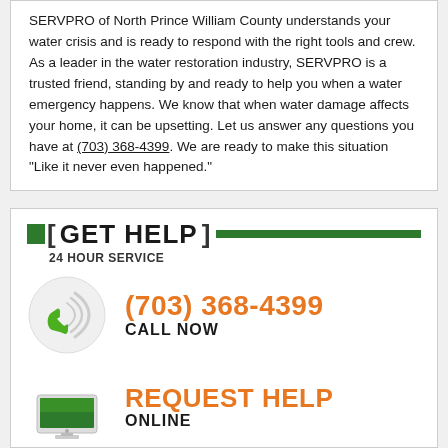SERVPRO of North Prince William County understands your water crisis and is ready to respond with the right tools and crew. As a leader in the water restoration industry, SERVPRO is a trusted friend, standing by and ready to help you when a water emergency happens. We know that when water damage affects your home, it can be upsetting. Let us answer any questions you have at (703) 368-4399. We are ready to make this situation “Like it never even happened.”
[ GET HELP ] 24 HOUR SERVICE
[Figure (illustration): Green telephone handset with signal waves icon in a circular frame]
(703) 368-4399 CALL NOW
[Figure (illustration): Computer monitor with green screen icon]
REQUEST HELP ONLINE
We work with your insurance.